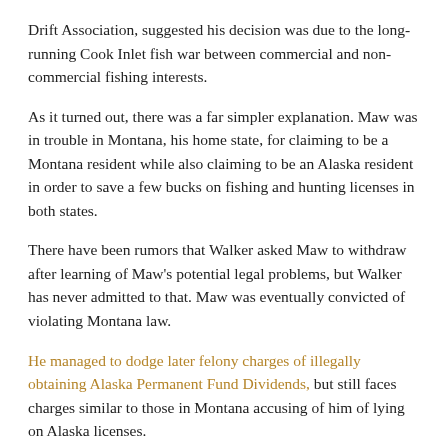Drift Association, suggested his decision was due to the long-running Cook Inlet fish war between commercial and non-commercial fishing interests.
As it turned out, there was a far simpler explanation. Maw was in trouble in Montana, his home state, for claiming to be a Montana resident while also claiming to be an Alaska resident in order to save a few bucks on fishing and hunting licenses in both states.
There have been rumors that Walker asked Maw to withdraw after learning of Maw's potential legal problems, but Walker has never admitted to that. Maw was eventually convicted of violating Montana law.
He managed to dodge later felony charges of illegally obtaining Alaska Permanent Fund Dividends, but still faces charges similar to those in Montana accusing of him of lying on Alaska licenses.
Fields' withdrawal from the Fish Board – whether voluntary or requested – saved Walker a potentially nasty and public fight with some Anchorage and Matanuska-Susitna Borough